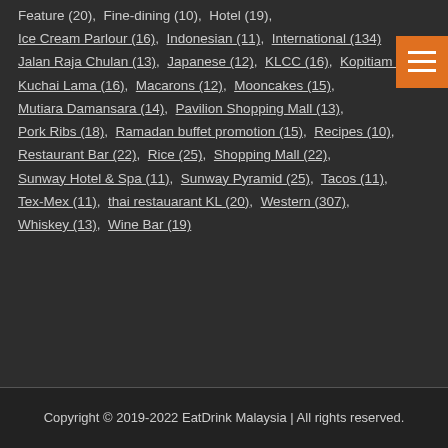Feature (20), Fine-dining (10), Hotel (19), Ice Cream Parlour (16), Indonesian (11), International (134), Jalan Raja Chulan (13), Japanese (12), KLCC (16), Kopitiam (11), Kuchai Lama (16), Macarons (12), Mooncakes (15), Mutiara Damansara (14), Pavilion Shopping Mall (13), Pork Ribs (18), Ramadan buffet promotion (15), Recipes (10), Restaurant Bar (22), Rice (25), Shopping Mall (22), Sunway Hotel & Spa (11), Sunway Pyramid (25), Tacos (11), Tex-Mex (11), thai restauarant KL (20), Western (307), Whiskey (13), Wine Bar (19)
Copyright © 2019-2022 EatDrink Malaysia | All rights reserved.